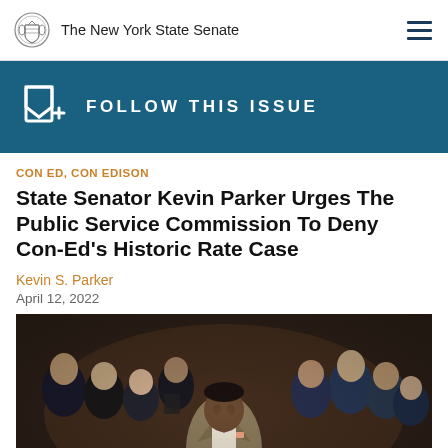The New York State Senate
FOLLOW THIS ISSUE
CON ED, CON EDISON
State Senator Kevin Parker Urges The Public Service Commission To Deny Con-Ed's Historic Rate Case
Kevin S. Parker
April 12, 2022
[Figure (photo): State Senator Kevin Parker in a tan suit with bow tie speaking at a podium or in chamber, surrounded by audience members in the background]